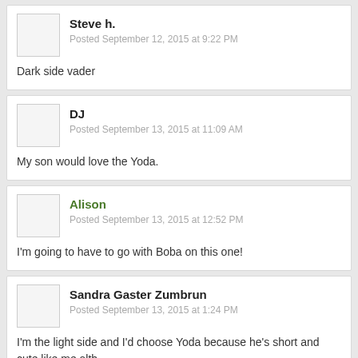Steve h.
Posted September 12, 2015 at 9:22 PM
Dark side vader
DJ
Posted September 13, 2015 at 11:09 AM
My son would love the Yoda.
Alison
Posted September 13, 2015 at 12:52 PM
I'm going to have to go with Boba on this one!
Sandra Gaster Zumbrun
Posted September 13, 2015 at 1:24 PM
I'm the light side and I'd choose Yoda because he's short and cute like me alth
Wars items! May the Force be with me and make me the lucky winner of this g